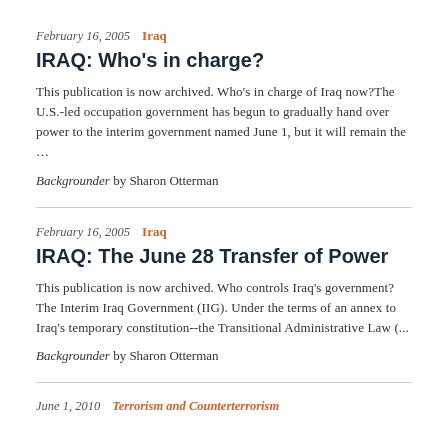February 16, 2005  Iraq
IRAQ: Who's in charge?
This publication is now archived. Who's in charge of Iraq now?The U.S.-led occupation government has begun to gradually hand over power to the interim government named June 1, but it will remain the …
Backgrounder by Sharon Otterman
February 16, 2005  Iraq
IRAQ: The June 28 Transfer of Power
This publication is now archived. Who controls Iraq's government? The Interim Iraq Government (IIG). Under the terms of an annex to Iraq's temporary constitution--the Transitional Administrative Law (...
Backgrounder by Sharon Otterman
June 1, 2010  Terrorism and Counterterrorism